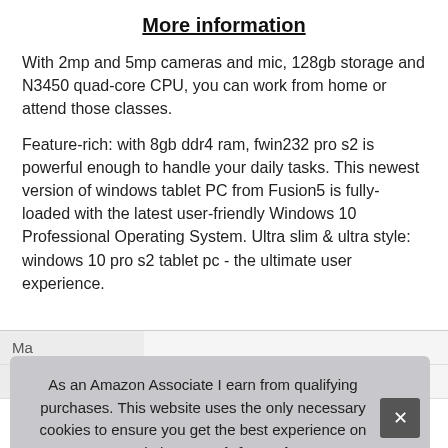More information
With 2mp and 5mp cameras and mic, 128gb storage and N3450 quad-core CPU, you can work from home or attend those classes.
Feature-rich: with 8gb ddr4 ram, fwin232 pro s2 is powerful enough to handle your daily tasks. This newest version of windows tablet PC from Fusion5 is fully-loaded with the latest user-friendly Windows 10 Professional Operating System. Ultra slim & ultra style: windows 10 pro s2 tablet pc - the ultimate user experience.
| Ma |  |
| Part Number | FWIN232PRO_S2 |
As an Amazon Associate I earn from qualifying purchases. This website uses the only necessary cookies to ensure you get the best experience on our website. More information